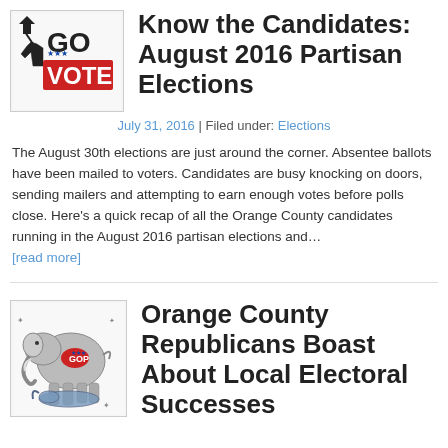[Figure (logo): Go Vote logo with hand pointing and text GO VOTE in black, red, white, blue]
Know the Candidates: August 2016 Partisan Elections
July 31, 2016  |  Filed under: Elections
The August 30th elections are just around the corner. Absentee ballots have been mailed to voters. Candidates are busy knocking on doors, sending mailers and attempting to earn enough votes before polls close. Here’s a quick recap of all the Orange County candidates running in the August 2016 partisan elections and…
[read more]
[Figure (illustration): Republican elephant standing over Democratic donkey illustration, elephant has Republican logo on side]
Orange County Republicans Boast About Local Electoral Successes